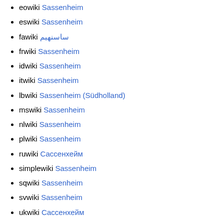eowiki Sassenheim
eswiki Sassenheim
fawiki ساسنهیم
frwiki Sassenheim
idwiki Sassenheim
itwiki Sassenheim
lbwiki Sassenheim (Südholland)
mswiki Sassenheim
nlwiki Sassenheim
plwiki Sassenheim
ruwiki Сассенхейм
simplewiki Sassenheim
sqwiki Sassenheim
svwiki Sassenheim
ukwiki Сассенхейм
zh_min_nanwiki Sassenheim